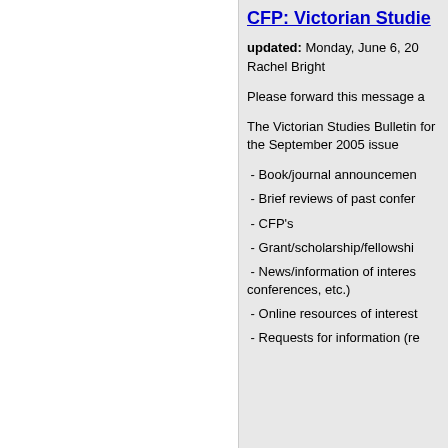CFP: Victorian Studie
updated: Monday, June 6, 20
Rachel Bright
Please forward this message a
The Victorian Studies Bulletin for the September 2005 issue
- Book/journal announcemen
- Brief reviews of past confer
- CFP's
- Grant/scholarship/fellowshi
- News/information of interes conferences, etc.)
- Online resources of interest
- Requests for information (re